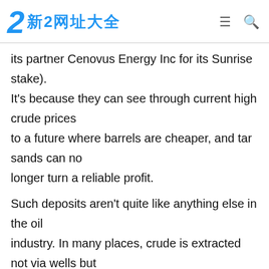新2网址大全
its partner Cenovus Energy Inc for its Sunrise stake). It's because they can see through current high crude prices to a future where barrels are cheaper, and tar sands can no longer turn a reliable profit.
Such deposits aren't quite like anything else in the oil industry. In many places, crude is extracted not via wells but with dump trucks and open-cast pits that resemble coal mines more than oil fields.
Elsewhere, the heavy viscous crude must be broken up with steam and chemicals to produce something liquid enough to be pumped to the surface.
That's an energy-intensive process. Whereas conventional methods produce oil containing about 20 gigajoules of energy for every gigajoule used in extracting it from the